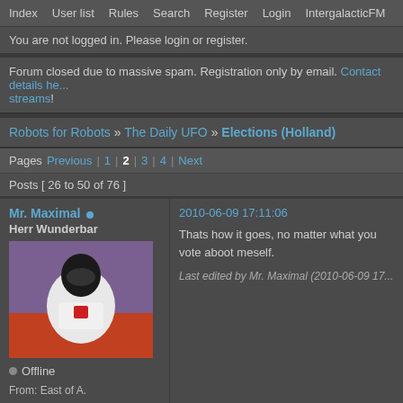Index | User list | Rules | Search | Register | Login | IntergalacticFM
You are not logged in. Please login or register.
Forum closed due to massive spam. Registration only by email. Contact details here for streams!
Robots for Robots » The Daily UFO » Elections (Holland)
Pages Previous | 1 | 2 | 3 | 4 | Next
Posts [ 26 to 50 of 76 ]
Mr. Maximal
Herr Wunderbar
Offline
From: East of A.
Registered: 2008-07-08
Posts: 1,628
2010-06-09 17:11:06

Thats how it goes, no matter what you vote aboot meself.

Last edited by Mr. Maximal (2010-06-09 17...
Website
Obi1r
2010-06-09 17:17:25